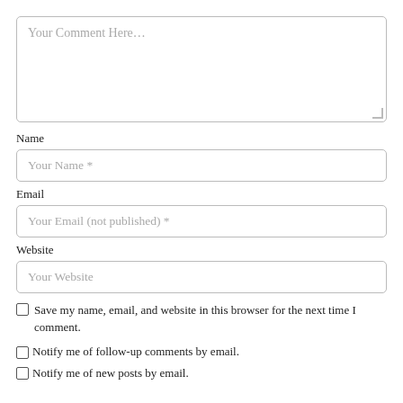[Figure (screenshot): Comment form textarea with placeholder text 'Your Comment Here...' and resize handle]
Name
[Figure (screenshot): Text input field with placeholder 'Your Name *']
Email
[Figure (screenshot): Text input field with placeholder 'Your Email (not published) *']
Website
[Figure (screenshot): Text input field with placeholder 'Your Website']
Save my name, email, and website in this browser for the next time I comment.
Notify me of follow-up comments by email.
Notify me of new posts by email.